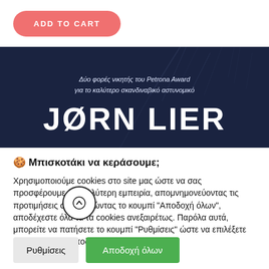[Figure (screenshot): ADD TO CART button — pink/salmon rounded rectangle with white uppercase text]
[Figure (photo): Dark blue book cover banner showing Greek text 'Δύο φορές νικητής του Petrona Award για το καλύτερο σκανδιναβικό αστυνομικό' and large text 'JØRN LIER']
🍪 Μπισκοτάκι να κεράσουμε;
Χρησιμοποιούμε cookies στο site μας ώστε να σας προσφέρουμε την καλύτερη εμπειρία, απομνημονεύοντας τις προτιμήσεις σας. Πατώντας το κουμπί "Αποδοχή όλων", αποδέχεστε όλα τα τα cookies ανεξαιρέτως. Παρόλα αυτά, μπορείτε να πατήσετε το κουμπί "Ρυθμίσεις" ώστε να επιλέξετε ποια θέλετε να αποδεχτε.
[Figure (illustration): Circular scroll-to-top button with upward arrow]
Ρυθμίσεις
Αποδοχή όλων